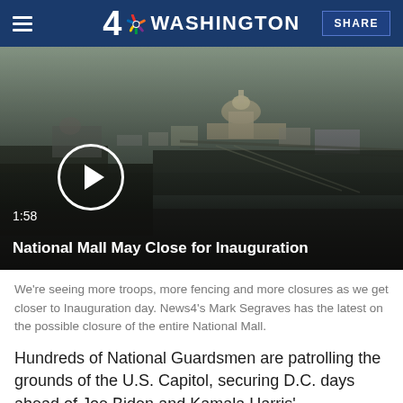4 NBC WASHINGTON  SHARE
[Figure (photo): Aerial view of Washington D.C. showing the U.S. Capitol and National Mall with video player overlay. Timestamp 1:58 shown. Title: National Mall May Close for Inauguration]
We're seeing more troops, more fencing and more closures as we get closer to Inauguration day. News4's Mark Segraves has the latest on the possible closure of the entire National Mall.
Hundreds of National Guardsmen are patrolling the grounds of the U.S. Capitol, securing D.C. days ahead of Joe Biden and Kamala Harris' inauguration ceremonies.